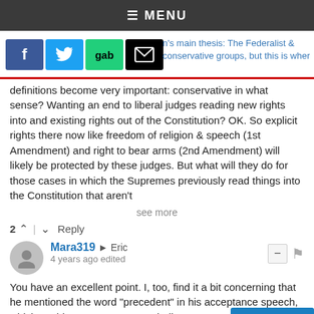≡ MENU
[Figure (screenshot): Social share buttons: Facebook (blue), Twitter (light blue), Gab (green), Email (black envelope). Partial text visible to the right about 'main thesis: The Federalist & conservative groups, but this is where']
definitions become very important: conservative in what sense? Wanting an end to liberal judges reading new rights into and existing rights out of the Constitution? OK. So explicit rights there now like freedom of religion & speech (1st Amendment) and right to bear arms (2nd Amendment) will likely be protected by these judges. But what will they do for those cases in which the Supremes previously read things into the Constitution that aren't
see more
2 ↑ | ↓ Reply
Mara319 → Eric
4 years ago edited
You have an excellent point. I, too, find it a bit concerning that he mentioned the word "precedent" in his acceptance speech, which could believes Roe to be a settled law.